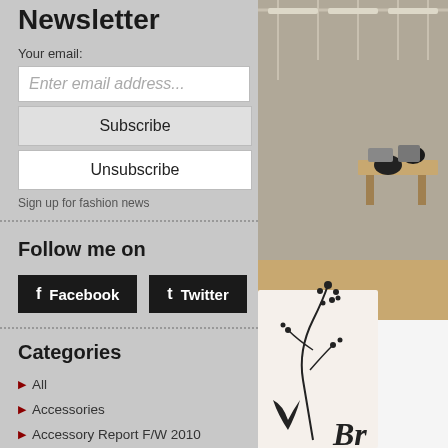Newsletter
Your email:
Enter email address...
Subscribe
Unsubscribe
Sign up for fashion news
Follow me on
Facebook
Twitter
Categories
All
Accessories
Accessory Report F/W 2010
Accessory Report F/W 2011
Accessory Report F/W 2012
Accessory Report F/W 2013
Accessory Report F/W 2014
Accessory Report F/W 2015
[Figure (photo): Fashion manufacturing workspace with sewing machines and a white card with floral illustration and 'Br...' text]